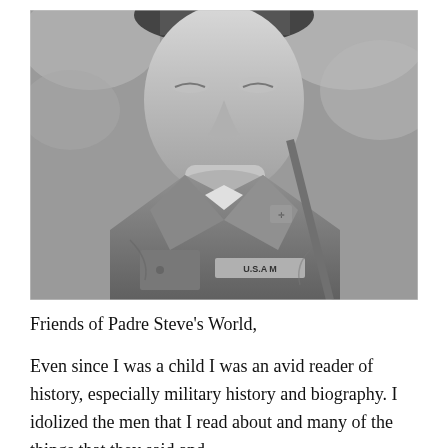[Figure (photo): Black and white close-up photograph of a man in military uniform, looking upward. He wears a military shirt with insignia on the collar and a name tag reading 'U.S. ARMY'. A strap crosses his chest. The background shows blurred foliage.]
Friends of Padre Steve's World,
Even since I was a child I was an avid reader of history, especially military history and biography. I idolized the men that I read about and many of the things that they said and